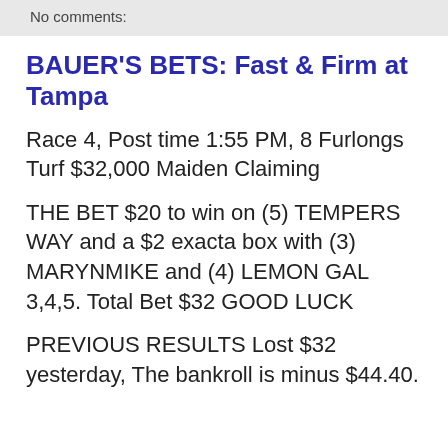No comments:
BAUER'S BETS: Fast & Firm at Tampa
Race 4, Post time 1:55 PM, 8 Furlongs Turf $32,000 Maiden Claiming
THE BET $20 to win on (5) TEMPERS WAY and a $2 exacta box with (3) MARYNMIKE and (4) LEMON GAL 3,4,5. Total Bet $32 GOOD LUCK
PREVIOUS RESULTS Lost $32 yesterday, The bankroll is minus $44.40.